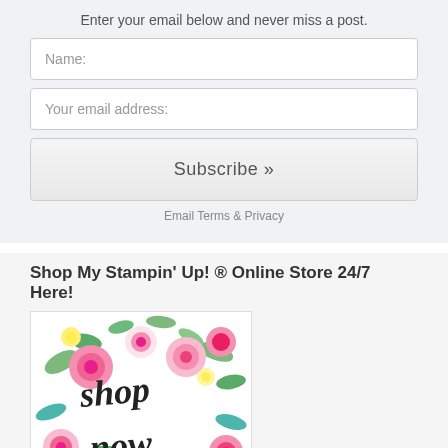Enter your email below and never miss a post.
Name:
Your email address:
Subscribe »
Email Terms & Privacy
Shop My Stampin' Up! ® Online Store 24/7 Here!
[Figure (illustration): Floral watercolor background with pink, yellow, and green flowers and leaves. Text in black script reads 'shop now'.]